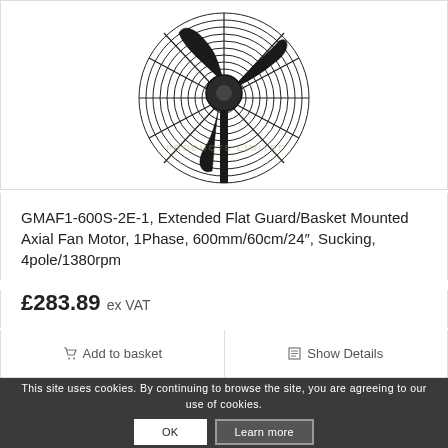[Figure (photo): Industrial axial fan motor with black metal guard/basket, circular wire guard visible from front, fan motor unit mounted centrally. Watermark text reads 'PRODUCTS LIMITED' faintly in background.]
GMAF1-600S-2E-1, Extended Flat Guard/Basket Mounted Axial Fan Motor, 1Phase, 600mm/60cm/24″, Sucking, 4pole/1380rpm
£283.89 ex VAT
Add to basket  Show Details
This site uses cookies. By continuing to browse the site, you are agreeing to our use of cookies.
OK  Learn more